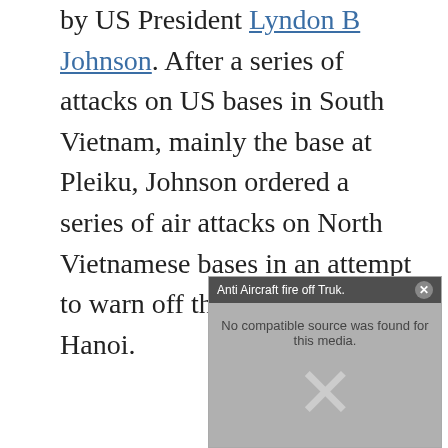by US President Lyndon B Johnson. After a series of attacks on US bases in South Vietnam, mainly the base at Pleiku, Johnson ordered a series of air attacks on North Vietnamese bases in an attempt to warn off the government in Hanoi.
[Figure (screenshot): A video player widget showing 'Anti Aircraft fire off Truk.' with a dark title bar and a grey media area displaying 'No compatible source was found for this media.' with a large X icon indicating media playback error.]